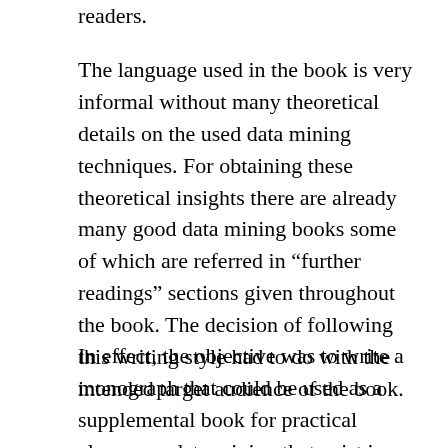readers.
The language used in the book is very informal without many theoretical details on the used data mining techniques. For obtaining these theoretical insights there are already many good data mining books some of which are referred in “further readings” sections given throughout the book. The decision of following this writing style had to do with the intended target audience of the book.
In effect, the objective was to write a monograph that could be used as a supplemental book for practical classes on data mining that exist in several courses, but at the